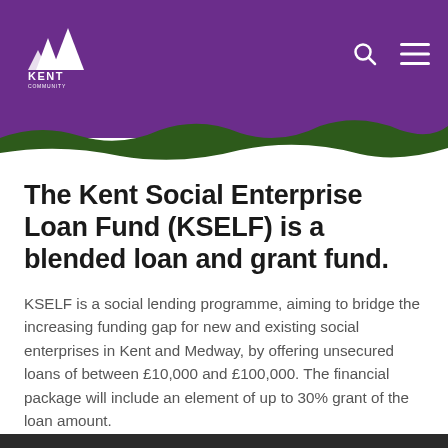[Figure (logo): Kent Community Foundation logo — white mountain/tree icon with KENT COMMUNITY FOUNDATION text in white on purple background]
The Kent Social Enterprise Loan Fund (KSELF) is a blended loan and grant fund.
KSELF is a social lending programme, aiming to bridge the increasing funding gap for new and existing social enterprises in Kent and Medway, by offering unsecured loans of between £10,000 and £100,000. The financial package will include an element of up to 30% grant of the loan amount.